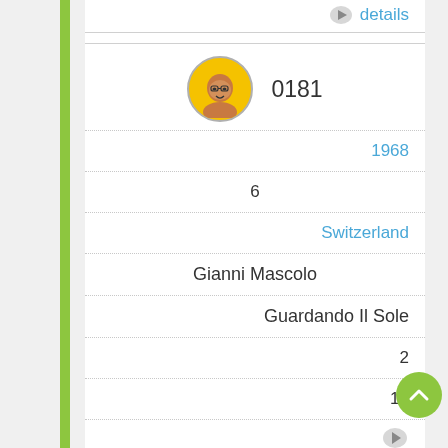details
[Figure (photo): User avatar photo of a person with glasses on a yellow circle background]
0181
1968
6
Switzerland
Gianni Mascolo
Guardando Il Sole
2
14
[Figure (illustration): Bottom scroll/details icon partially visible]